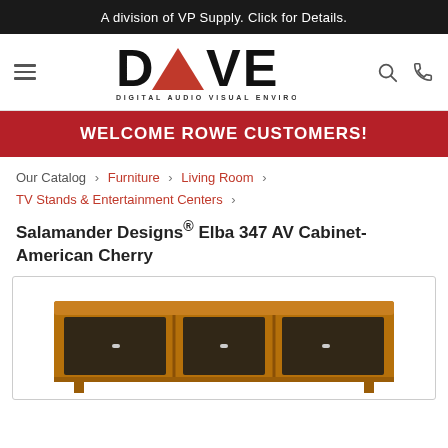A division of VP Supply. Click for Details.
[Figure (logo): DAVE Digital Audio Visual Environments logo with red triangle in the word DAVE]
WELCOME ROWE CUSTOMERS!
Our Catalog › Furniture › Living Room › TV Stands & Entertainment Centers ›
Salamander Designs® Elba 347 AV Cabinet-American Cherry
[Figure (photo): Photo of a wooden AV cabinet (Salamander Designs Elba 347) in American Cherry finish with glass-fronted doors at the bottom]